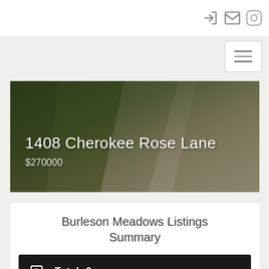Navigation bar with icons: login, email, instagram, and hamburger menu
[Figure (photo): Exterior photo of a home driveway and lawn area with green grass on the left, concrete walkway and driveway visible. Overlay text shows property address and price.]
1408 Cherokee Rose Lane
$270000
Burleson Meadows Listings Summary
Total: 6
New: 4